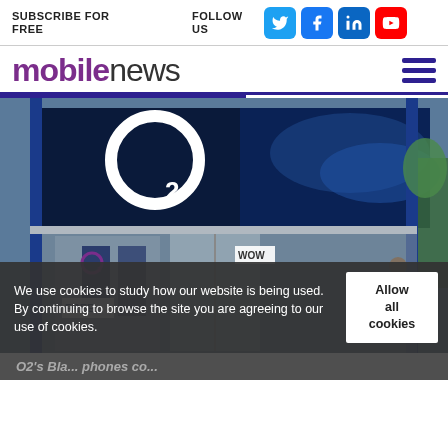SUBSCRIBE FOR FREE   FOLLOW US
mobilenews
[Figure (photo): O2 store front with large O2 logo on blue fascia, showing interior with product displays and 'FREE' sign visible]
We use cookies to study how our website is being used. By continuing to browse the site you are agreeing to our use of cookies.
O2's Bla... phones co... little as £1